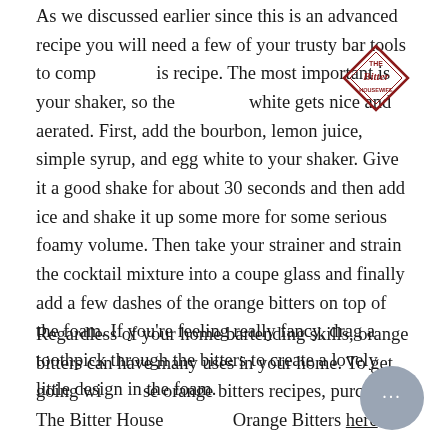As we discussed earlier since this is an advanced recipe you will need a few of your trusty bar tools to complete this recipe. The most important is your shaker, so the egg white gets nice and aerated. First, add the bourbon, lemon juice, simple syrup, and egg white to your shaker. Give it a good shake for about 30 seconds and then add ice and shake it up some more for some serious foamy volume. Then take your strainer and strain the cocktail mixture into a coupe glass and finally add a few dashes of the orange bitters on top of the foam. If you're feeling really fancy, drag a toothpick through the bitters to create a lovely little design in the foam.
[Figure (logo): The Bitter Housewife diamond-shaped logo in red/maroon with cursive text]
Regardless of your home bartending skills, orange bitters can have many uses in your home. To get going with these orange bitters recipes, purchase The Bitter Housewife Orange Bitters here.
[Figure (other): Gray circular chat/messenger button with three dots]